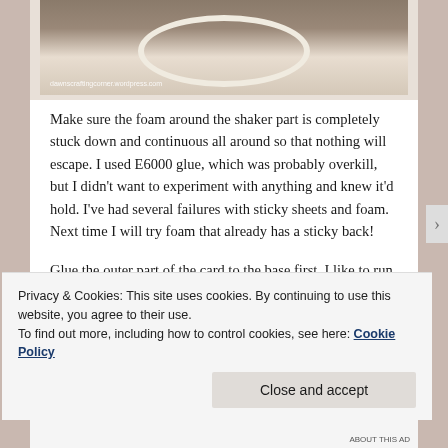[Figure (photo): Photo of a craft shaker card component with an oval/ring shape cut out, viewed from above, showing foam border around the oval window]
Make sure the foam around the shaker part is completely stuck down and continuous all around so that nothing will escape. I used E6000 glue, which was probably overkill, but I didn't want to experiment with anything and knew it'd hold. I've had several failures with sticky sheets and foam. Next time I will try foam that already has a sticky back!
Glue the outer part of the card to the base first. I like to run a dryer sheet across the card base and the shaker to prevent static electricity. Place the bottom penny with the
Privacy & Cookies: This site uses cookies. By continuing to use this website, you agree to their use.
To find out more, including how to control cookies, see here: Cookie Policy
Close and accept